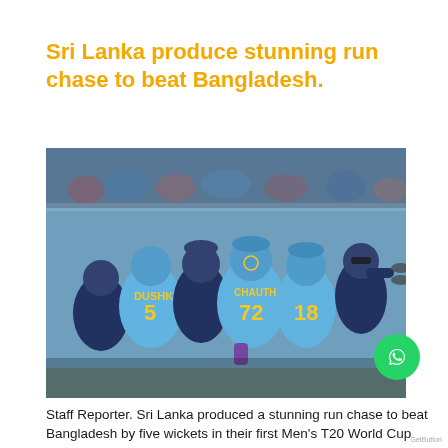Sri Lanka produce stunning run chase to beat Bangladesh.
[Figure (photo): Sri Lanka cricket team players in blue jerseys celebrating together in a group huddle on the field, with a crowd visible in the background. Visible jersey numbers include 5 (DUSHKUAN), 72 (CHAUTH), 18.]
Staff Reporter. Sri Lanka produced a stunning run chase to beat Bangladesh by five wickets in their first Men's T20 World Cup